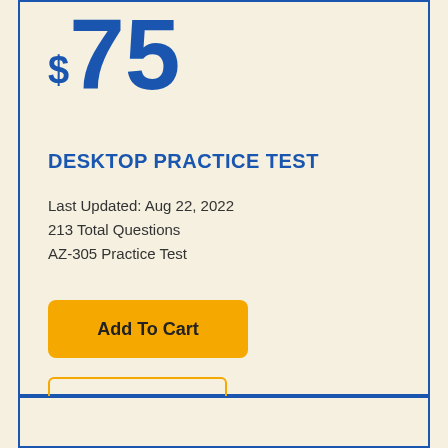$75
DESKTOP PRACTICE TEST
Last Updated: Aug 22, 2022
213 Total Questions
AZ-305 Practice Test
Add To Cart
Demo